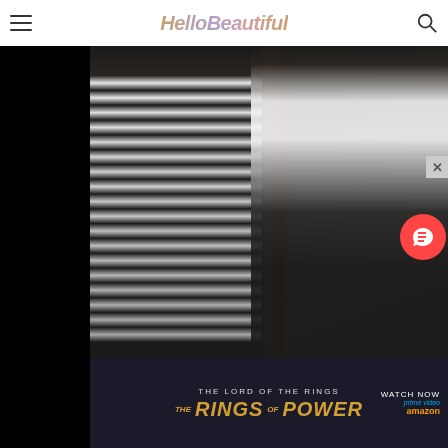HelloBeautiful
[Figure (photo): Two women posing together at an event, one wearing a black and white striped tweed dress, the other wearing a white top and black leather skirt with long straight brown hair. Blue event backdrop partially visible on the left.]
[Figure (photo): Woman in a dark gray short-sleeve top standing with hands on a wooden surface, viewed from behind/side. Burgundy/red hair visible. Wood paneling background with blue element on left and white vertical bar on right.]
[Figure (advertisement): Ad banner for The Lord of the Rings: The Rings of Power on Prime Video. Dark background with gold/amber stylized text. 'WATCH NOW' and 'prime video' with Amazon logo on the right side.]